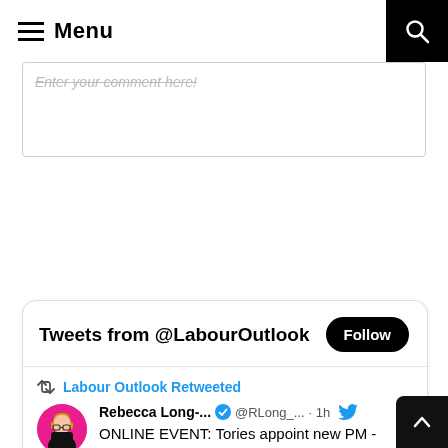Menu
Enter your comment here!
[Figure (screenshot): Tweets from @LabourOutlook widget showing a retweet by Labour Outlook of a tweet by Rebecca Long-... @RLong_... 1h: ONLINE EVENT: Tories appoint new PM - What Next?]
Tweets from @LabourOutlook
Labour Outlook Retweeted
Rebecca Long-... @RLong_... · 1h
ONLINE EVENT: Tories appoint new PM - What Next?